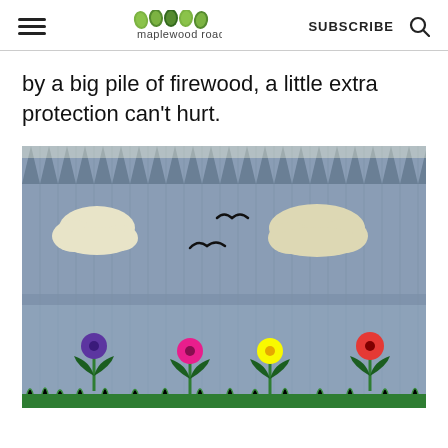maplewood road | SUBSCRIBE
by a big pile of firewood, a little extra protection can't hurt.
[Figure (photo): A painted wooden fence with a light blue background. The upper section features two painted white clouds and two black bird silhouettes. The lower section shows four painted flowers with colorful petals (purple, pink, yellow, red/orange) on green heart-shaped leaves, with painted green grass along the bottom. The top of the fence has pointed picket tops visible against a bright background.]